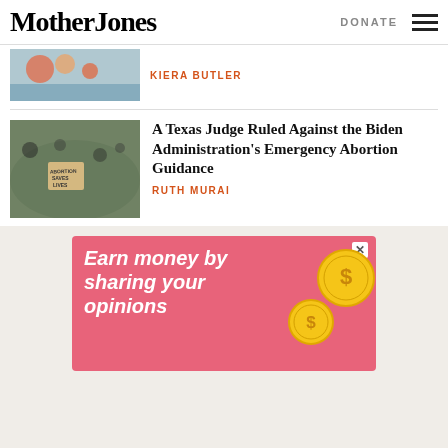MotherJones | DONATE
KIERA BUTLER
A Texas Judge Ruled Against the Biden Administration's Emergency Abortion Guidance
RUTH MURAI
[Figure (photo): Advertisement banner with pink/red background showing text 'Earn money by sharing your opinions' with golden coin graphics]